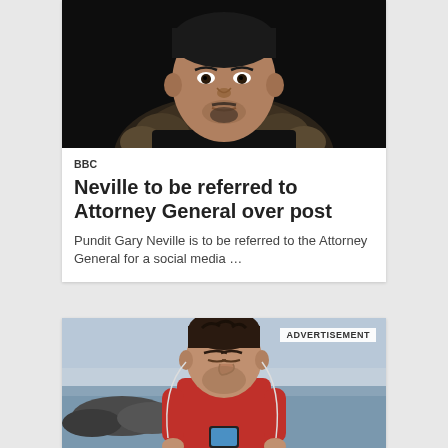[Figure (photo): Man with fur-trimmed jacket looking serious against dark background]
BBC
Neville to be referred to Attorney General over post
Pundit Gary Neville is to be referred to the Attorney General for a social media …
[Figure (photo): Man in red hoodie with earphones looking at phone near waterfront, with ADVERTISEMENT label]